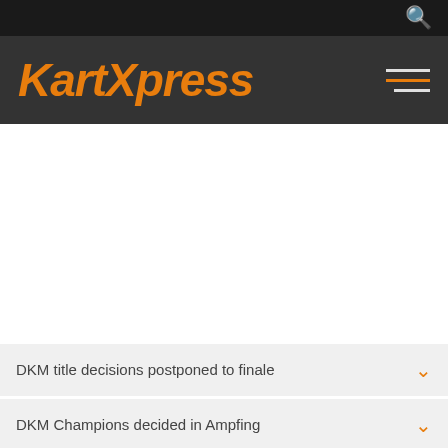KartXpress
DKM title decisions postponed to finale
DKM Champions decided in Ampfing
Sunday live streaming coverage: DKM Finals in Ampfing
Saturday live stream: DKM Finals in Ampfing
Live-timing and results: DKM Finals in Ampfing